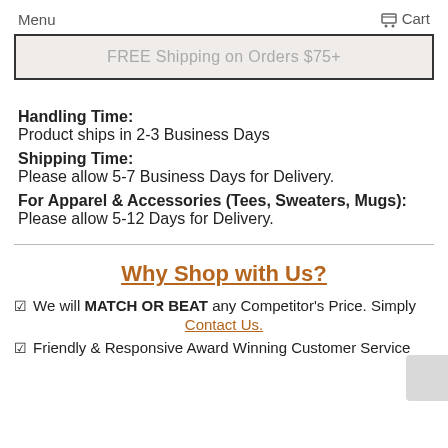Menu    Cart
FREE Shipping on Orders $75+
Handling Time:
Product ships in 2-3 Business Days
Shipping Time:
Please allow 5-7 Business Days for Delivery.
For Apparel & Accessories (Tees, Sweaters, Mugs):
Please allow 5-12 Days for Delivery.
Why Shop with Us?
We will MATCH OR BEAT any Competitor's Price. Simply
Contact Us.
Friendly & Responsive Award Winning Customer Service